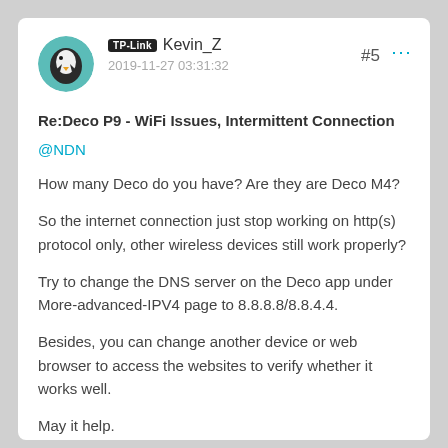TP-Link Kevin_Z — 2019-11-27 03:31:32 — #5
Re:Deco P9 - WiFi Issues, Intermittent Connection
@NDN
How many Deco do you have? Are they are Deco M4?
So the internet connection just stop working on http(s) protocol only, other wireless devices still work properly?
Try to change the DNS server on the Deco app under More-advanced-IPV4 page to 8.8.8.8/8.8.4.4.
Besides, you can change another device or web browser to access the websites to verify whether it works well.
May it help.